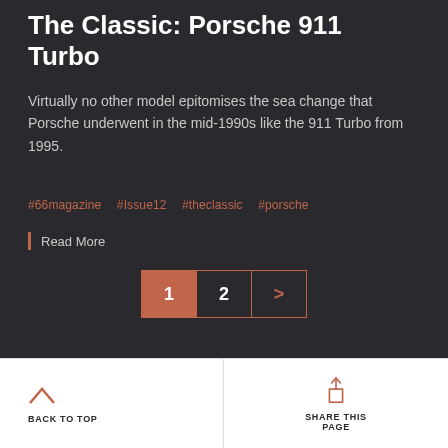The Classic: Porsche 911 Turbo
Virtually no other model epitomises the sea change that Porsche underwent in the mid-1990s like the 911 Turbo from 1995.
#66magazine  #Issue12  #theclassic  #porsche
Read More
[Figure (other): Pagination controls showing page 1 (active, orange background), page 2, and a next arrow button, all with orange border]
BACK TO TOP
SHARE THIS PAGE